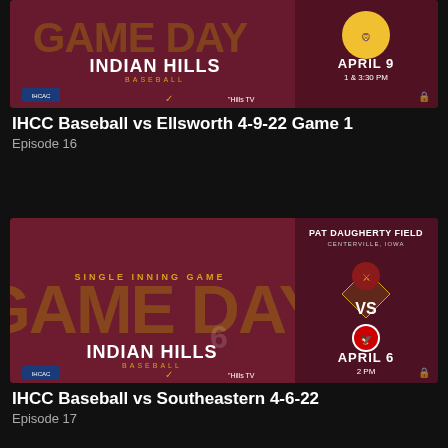[Figure (photo): Indian Hills Baseball Game Day graphic vs Ellsworth, April 9, 1 & 3:30 PM]
IHCC Baseball vs Ellsworth 4-9-22 Game 1
Episode 16
[Figure (photo): Indian Hills Baseball Single Inning Game Day graphic vs Southeastern at Pat Daugherty Field, Centerville Iowa, April 6, 2 PM]
IHCC Baseball vs Southeastern 4-6-22
Episode 17